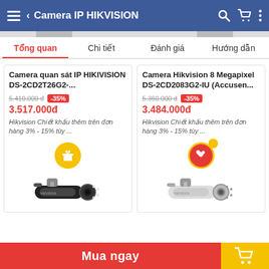Camera IP HIKVISION
Tổng quan | Chi tiết | Đánh giá | Hướng dẫn
Camera quan sát IP HIKIVISION DS-2CD2T26G2-... Giá gốc: 5.410.000đ -35% Giá: 3.517.000đ Hikvision Chiết khấu thêm trên đơn hàng 3% - 15% tùy ...
Camera Hikvision 8 Megapixel DS-2CD2083G2-IU (Accueen... Giá gốc: 5.360.000đ -35% Giá: 3.484.000đ Hikvision Chiết khấu thêm trên đơn hàng 3% - 15% tùy ...
Mua ngay